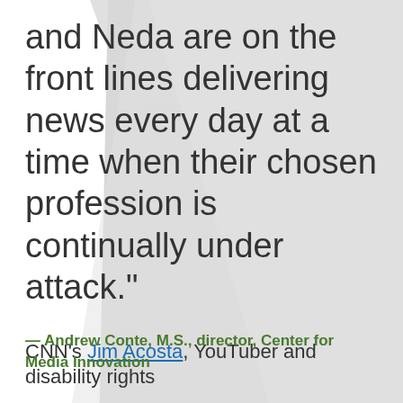and Neda are on the front lines delivering news every day at a time when their chosen profession is continually under attack."
— Andrew Conte, M.S., director, Center for Media Innovation
CNN's Jim Acosta, YouTuber and disability rights